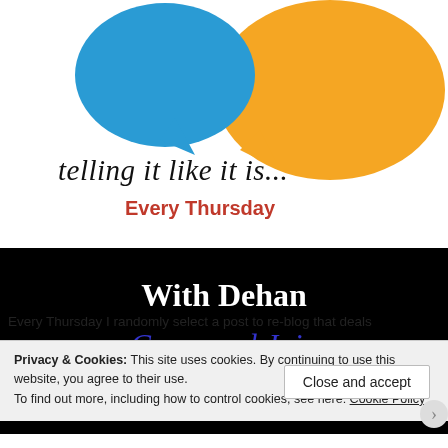[Figure (illustration): Speech bubbles (blue and orange/yellow) above handwritten-style text: 'telling it like it is... Every Thursday' in black script with 'Every Thursday' in red, plus a black banner with 'With Dehan' in white and 'Come and Join the conversation' in blue cursive script]
Every Thursday I randomly select a post to re-blog that deals w...
Privacy & Cookies: This site uses cookies. By continuing to use this website, you agree to their use.
To find out more, including how to control cookies, see here: Cookie Policy
Close and accept